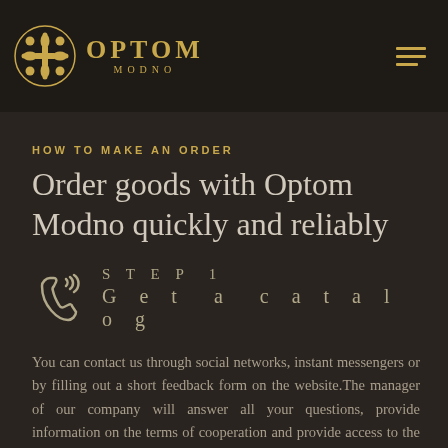OPTOM MODNO
HOW TO MAKE AN ORDER
Order goods with Optom Modno quickly and reliably
Step 1 — Get a catalog
You can contact us through social networks, instant messengers or by filling out a short feedback form on the website.The manager of our company will answer all your questions, provide information on the terms of cooperation and provide access to the online catalog.